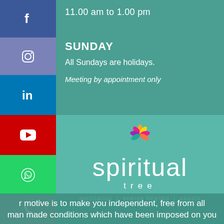11.00 am to 1.00 pm
SUNDAY
All Sundays are holidays.
Meeting by appointment only
[Figure (logo): Spiritual Tree logo with colorful flower/leaf mandala icon above the word 'spiritual' in white lowercase letters, 'tree' below in smaller white letters, and tagline 'meditation | energy healing | vaastu']
r motive is to make you independent, free from all man made conditions which have been imposed on you